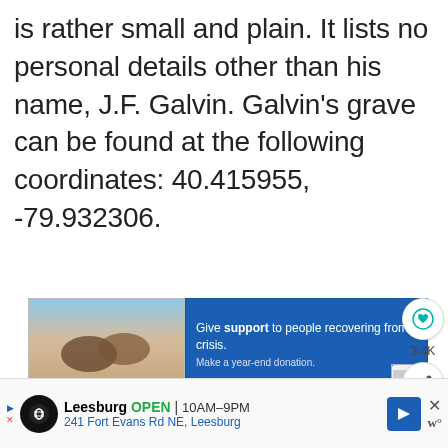is rather small and plain. It lists no personal details other than his name, J.F. Galvin. Galvin's grave can be found at the following coordinates: 40.415955, -79.932306.
[Figure (screenshot): Advertisement banner: image of two people holding hands on left, blue box on right reading 'Give support to people recovering from crisis. Make a year-end donation.' with close button and credit card icon.]
[Figure (infographic): Heart icon button (teal) with count 3.4K and share icon button below it on the right side.]
[Figure (screenshot): What's Next panel with circular thumbnail of graves photo and text 'Visiting the Graves of th...']
[Figure (screenshot): Bottom advertisement for Leesburg: OPEN 10AM-9PM, 241 Fort Evans Rd NE, Leesburg with navigation arrow and close button.]